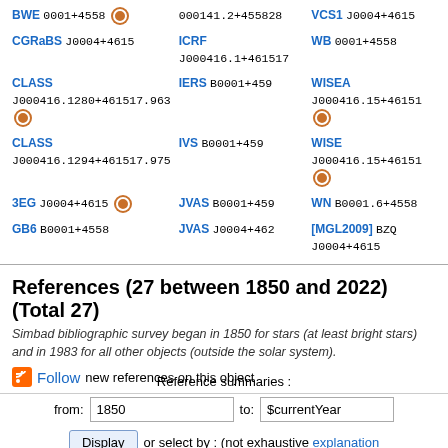BWE 0001+4558 | 000141.2+455828 | VCS1 J0004+4615 | CGRaBS J0004+4615 | ICRF J000416.1+461517 | WB 0001+4558 | CLASS J000416.1280+461517.963 | IERS B0001+459 | WISEA J000416.15+46151 | CLASS J000416.1294+461517.975 | IVS B0001+459 | WISE J000416.15+46151 | 3EG J0004+4615 | JVAS B0001+459 | WN B0001.6+4558 | GB6 B0001+4558 | JVAS J0004+462 | [MGL2009] BZQ J0004+4615
References (27 between 1850 and 2022) (Total 27)
Simbad bibliographic survey began in 1850 for stars (at least bright stars) and in 1983 for all other objects (outside the solar system).
Follow new references on this object
Reference summaries :
from: 1850  to: $currentYear
Display  or select by : (not exhaustive  explanation